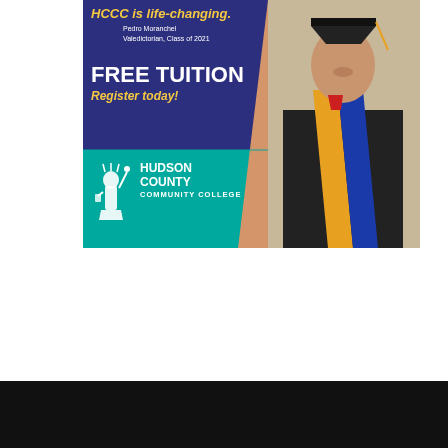[Figure (illustration): Hudson County Community College advertisement featuring a graduating student in cap and gown with gold sash, navy blue and teal background. Text reads 'HCCC is life-changing.' with Pedro Moranchel, Valedictorian Class of 2021 attribution, FREE TUITION, Register today!, and Hudson County Community College logo with Statue of Liberty icon.]